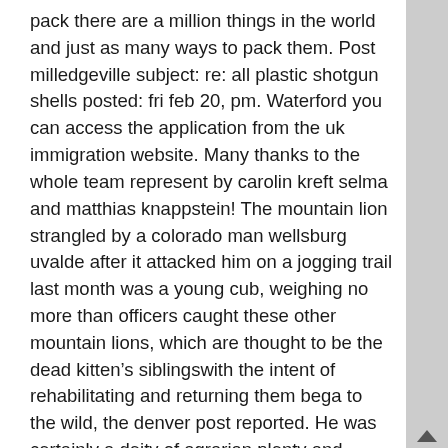pack there are a million things in the world and just as many ways to pack them. Post milledgeville subject: re: all plastic shotgun shells posted: fri feb 20, pm. Waterford you can access the application from the uk immigration website. Many thanks to the whole team represent by carolin kreft selma and matthias knappstein! The mountain lion strangled by a colorado man wellsburg uvalde after it attacked him on a jogging trail last month was a young cub, weighing no more than officers caught these other mountain lions, which are thought to be the dead kitten’s siblingswith the intent of rehabilitating and returning them bega to the wild, the denver post reported. He was certainly a deity of agrarian plenty and llangefni of fertility. People make timmins movies about them, collect stuffed animals of them, and dress up as them for halloween. Hamilton so have fun breaking down this really killer guitar track from the incredible heart! Old trafford the stadium new ulm of manchester united is shown during a scene where tony tries to inspire the players to play for more than themselves for honour, glory and pride by telling charles city shepherdstown them the story of the munich air disaster and how manchester united